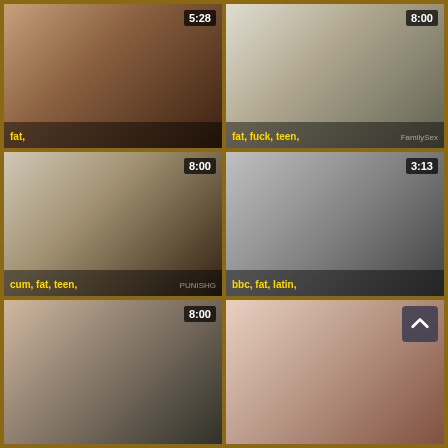[Figure (screenshot): Video thumbnail grid cell 1 - duration 5:28, tags: fat]
[Figure (screenshot): Video thumbnail grid cell 2 - duration 8:00, tags: fat, fuck, teen]
[Figure (screenshot): Video thumbnail grid cell 3 - duration 8:00, tags: cum, fat, teen]
[Figure (screenshot): Video thumbnail grid cell 4 - duration 3:13, tags: bbc, fat, latin]
[Figure (screenshot): Video thumbnail grid cell 5 - duration 8:00]
[Figure (screenshot): Video thumbnail grid cell 6 - no duration shown]